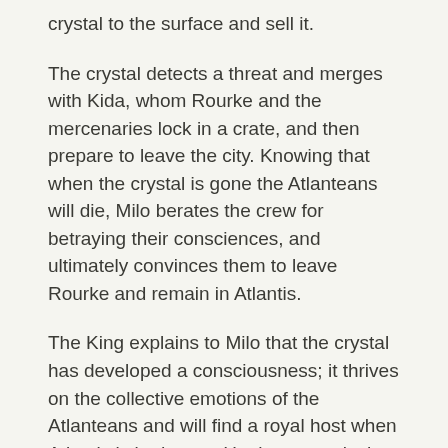crystal to the surface and sell it.
The crystal detects a threat and merges with Kida, whom Rourke and the mercenaries lock in a crate, and then prepare to leave the city. Knowing that when the crystal is gone the Atlanteans will die, Milo berates the crew for betraying their consciences, and ultimately convinces them to leave Rourke and remain in Atlantis.
The King explains to Milo that the crystal has developed a consciousness; it thrives on the collective emotions of the Atlanteans and will find a royal host when Atlantis is in danger. He then reveals that the sinking of Atlantis was caused when he attempted to use it as a weapon of war.
10 Things You Probably Don't Know About The Lost City Of